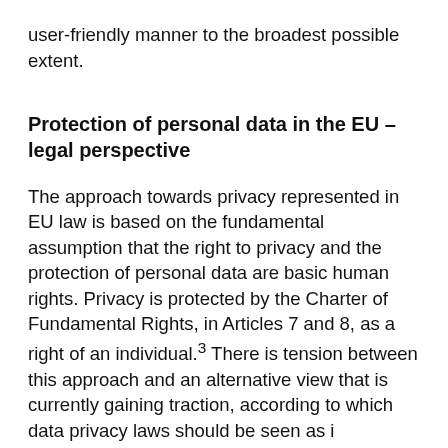user-friendly manner to the broadest possible extent.
Protection of personal data in the EU – legal perspective
The approach towards privacy represented in EU law is based on the fundamental assumption that the right to privacy and the protection of personal data are basic human rights. Privacy is protected by the Charter of Fundamental Rights, in Articles 7 and 8, as a right of an individual.³ There is tension between this approach and an alternative view that is currently gaining traction, according to which data privacy laws should be seen as i...